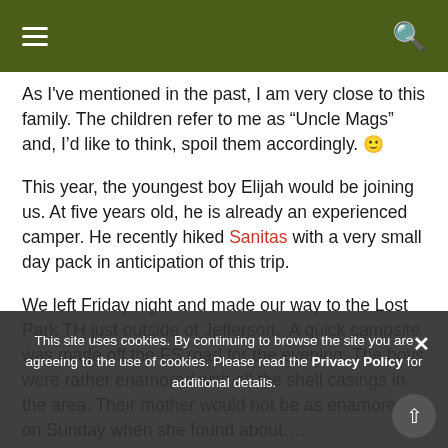Navigation bar with hamburger menu and search icon
As I've mentioned in the past, I am very close to this family. The children refer to me as “Uncle Mags” and, I’d like to think, spoil them accordingly. 🙂
This year, the youngest boy Elijah would be joining us. At five years old, he is already an experienced camper. He recently hiked Sanitas with a very small day pack in anticipation of this trip.
We left Friday night and made our way to the Lost Park TH just outside of Jefferson.  A quick campsite was made off the FS road for the evening. The boys were rather enamored with all the shell casings in the area. Their mother would not be as enamored on Sunday when she found about….
On Saturday, we began our trip. I was a bit surprised at the amount of cars at the TH vs a few years ago.  High snow year perhaps? For once, I don't think my website caused the issue. 😡 read more
This site uses cookies. By continuing to browse the site you are agreeing to the use of cookies. Please read the Privacy Policy for additional details.